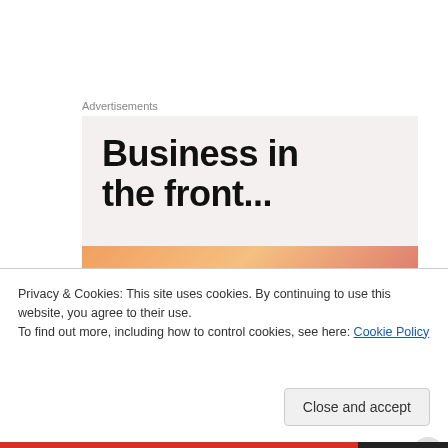Advertisements
[Figure (illustration): WordPress advertisement banner. Top half shows 'Business in the front...' text in bold black on light background. Bottom half shows 'WordPress' text on gradient orange-to-pink background.]
The third book I recently finished is The Berlin Girl by Mandy Robotham. I had an ARC of this, thanks
Privacy & Cookies: This site uses cookies. By continuing to use this website, you agree to their use.
To find out more, including how to control cookies, see here: Cookie Policy
Close and accept